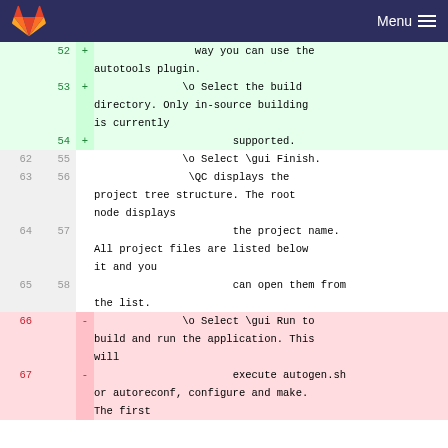GitLab Menu
| old | new | marker | code |
| --- | --- | --- | --- |
|  | 52 | + |                 way you can use the autotools plugin. |
|  | 53 | + |               \o Select the build directory. Only in-source building is currently |
|  | 54 | + |                       supported. |
| 62 | 55 |  |               \o Select \gui Finish. |
| 63 | 56 |  |                \QC displays the project tree structure. The root node displays |
| 64 | 57 |  |                       the project name. All project files are listed below it and you |
| 65 | 58 |  |                       can open them from the list. |
| 66 |  | - |               \o Select \gui Run to build and run the application. This will |
| 67 |  | - |                       execute autogen.sh or autoreconf, configure and make. The first |